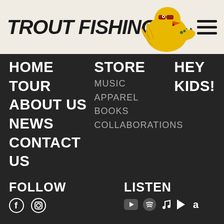TROUT FISHING IN AMERICA
HOME
TOUR
ABOUT US
NEWS
CONTACT US
STORE
MUSIC
APPAREL
BOOKS
COLLABORATIONS
HEY KIDS!
FOLLOW
[Figure (illustration): Facebook and Instagram social media icons]
LISTEN
[Figure (illustration): YouTube, Spotify, Apple Music, Google Play, and Amazon music streaming icons]
GET DISCOUNTS & UPDATES
EMAIL
SIGN UP